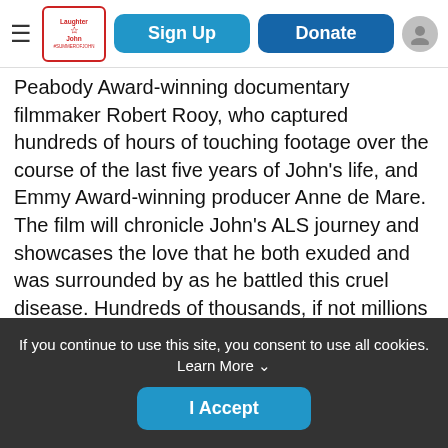Sign Up | Donate
Peabody Award-winning documentary filmmaker Robert Rooy, who captured hundreds of hours of touching footage over the course of the last five years of John's life, and Emmy Award-winning producer Anne de Mare. The film will chronicle John's ALS journey and showcases the love that he both exuded and was surrounded by as he battled this cruel disease. Hundreds of thousands, if not millions of viewers will be motivated to fund efforts for a cure and to support families affected by ALS by their viewing of this film.

Please help us bring John's story of love and laughter
If you continue to use this site, you consent to use all cookies. Learn More ∨
I Accept